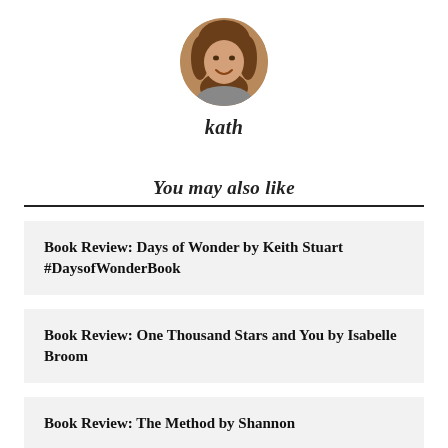[Figure (photo): Circular profile photo of a smiling woman with long brown hair]
kath
You may also like
Book Review: Days of Wonder by Keith Stuart #DaysofWonderBook
Book Review: One Thousand Stars and You by Isabelle Broom
Book Review: The Method by Shannon